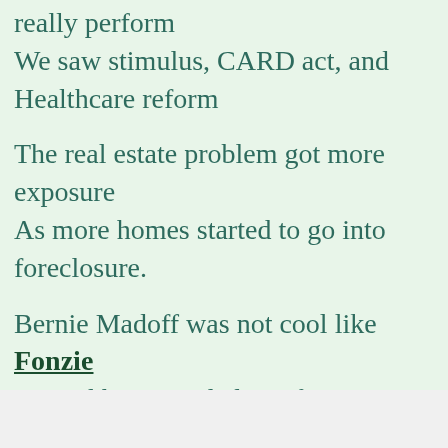really perform
We saw stimulus, CARD act, and Healthcare reform
The real estate problem got more exposure
As more homes started to go into foreclosure.
Bernie Madoff was not cool like Fonzie
Instead he reminded us of a man named Charles Ponzi.
Time's Person of the Year